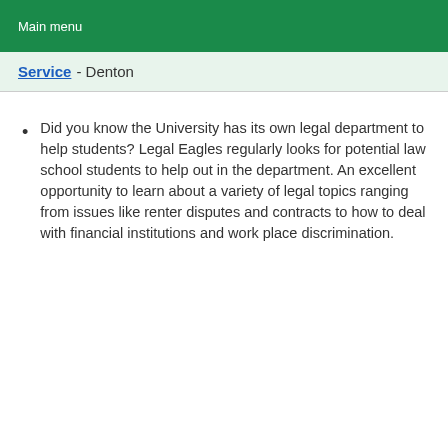Main menu
Service - Denton
Did you know the University has its own legal department to help students? Legal Eagles regularly looks for potential law school students to help out in the department. An excellent opportunity to learn about a variety of legal topics ranging from issues like renter disputes and contracts to how to deal with financial institutions and work place discrimination.